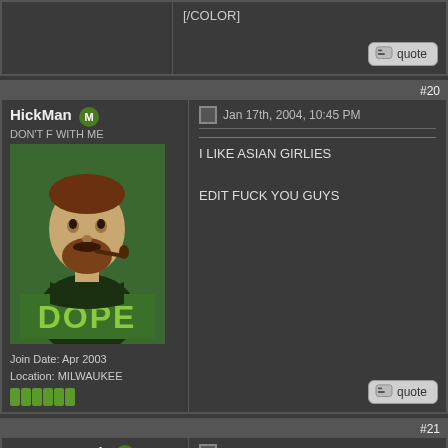[/COLOR]
quote
#20
HickMan
DON'T F WITH ME
[Figure (illustration): DOPE poster illustration of a man with a beard smoking a pipe, stylized in green and brown tones]
Join Date: Apr 2003
Location: MILWAUKEE
Jan 17th, 2004, 10:45 PM
I LIKE ASIAN GIRLIES

EDIT FUCK YOU GUYS
quote
#21
Cap'n Crunch
Mocker
[Figure (photo): Photo of a young man with dark hair and mustache wearing an orange tank top]
Jan 17th, 2004, 10:45 PM
10:45
opposition to all violence even if committed in self defense
quote